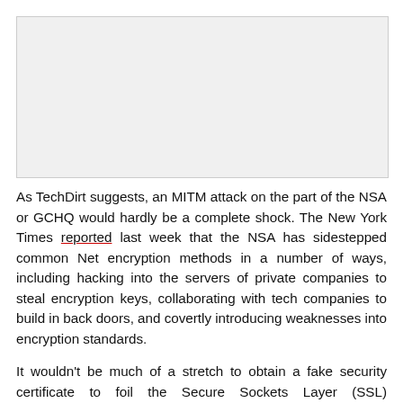[Figure (other): Image placeholder / blank gray rectangle]
As TechDirt suggests, an MITM attack on the part of the NSA or GCHQ would hardly be a complete shock. The New York Times reported last week that the NSA has sidestepped common Net encryption methods in a number of ways, including hacking into the servers of private companies to steal encryption keys, collaborating with tech companies to build in back doors, and covertly introducing weaknesses into encryption standards.
It wouldn't be much of a stretch to obtain a fake security certificate to foil the Secure Sockets Layer (SSL) cryptographic protocol that's designed to verify